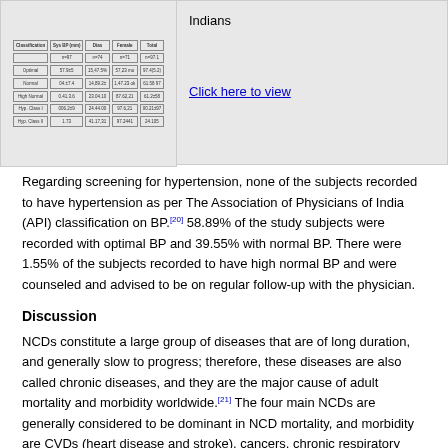[Figure (table-as-image): Partial table image showing classification data for Indians with rows and columns, partially visible]
Indians
Click here to view
Regarding screening for hypertension, none of the subjects recorded to have hypertension as per The Association of Physicians of India (API) classification on BP.[20] 58.89% of the study subjects were recorded with optimal BP and 39.55% with normal BP. There were 1.55% of the subjects recorded to have high normal BP and were counseled and advised to be on regular follow-up with the physician.
Discussion
NCDs constitute a large group of diseases that are of long duration, and generally slow to progress; therefore, these diseases are also called chronic diseases, and they are the major cause of adult mortality and morbidity worldwide.[21] The four main NCDs are generally considered to be dominant in NCD mortality, and morbidity are CVDs (heart disease and stroke), cancers, chronic respiratory diseases (COPD and asthma) and diabetes. Although diverse in symptoms, these four NCDs share common lifestyle-related or behavioral risk factors. A recent